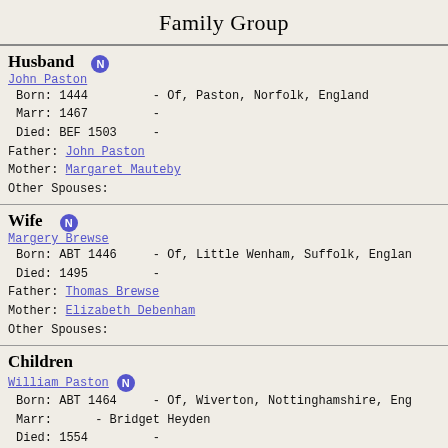Family Group
Husband
John Paston
 Born: 1444          - Of, Paston, Norfolk, England
 Marr: 1467          -
 Died: BEF 1503      -
Father: John Paston
Mother: Margaret Mauteby
Other Spouses:
Wife
Margery Brewse
 Born: ABT 1446     - Of, Little Wenham, Suffolk, England
 Died: 1495          -
Father: Thomas Brewse
Mother: Elizabeth Debenham
Other Spouses:
Children
William Paston
 Born: ABT 1464     - Of, Wiverton, Nottinghamshire, Eng
 Marr:      - Bridget Heyden
 Died: 1554          -